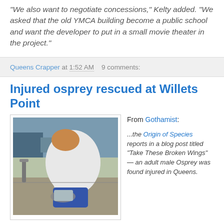"We also want to negotiate concessions," Kelty added. "We asked that the old YMCA building become a public school and want the developer to put in a small movie theater in the project."
Queens Crapper at 1:52 AM   9 comments:
Injured osprey rescued at Willets Point
[Figure (photo): Person leaning over and handling an injured bird (osprey) on a sidewalk near a parking lot.]
From Gothamist:

...the Origin of Species reports in a blog post titled "Take These Broken Wings" — an adult male Osprey was found injured in Queens.
The bird was in a parking lot near Willets Point, where he